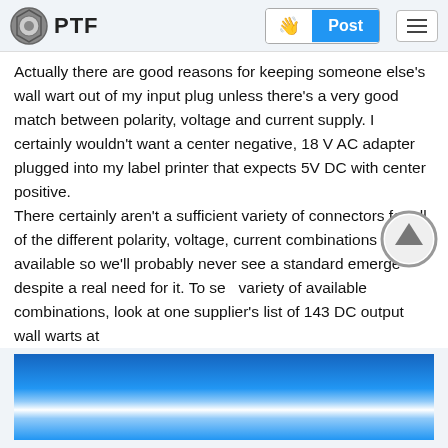PTF | Post
Actually there are good reasons for keeping someone else's wall wart out of my input plug unless there's a very good match between polarity, voltage and current supply. I certainly wouldn't want a center negative, 18 V AC adapter plugged into my label printer that expects 5V DC with center positive. There certainly aren't a sufficient variety of connectors for all of the different polarity, voltage, current combinations available so we'll probably never see a standard emerge despite a real need for it. To see variety of available combinations, look at one supplier's list of 143 DC output wall warts at
[Figure (photo): Blue gradient image, appears to be a product or decorative photo with a bright highlight in the center]